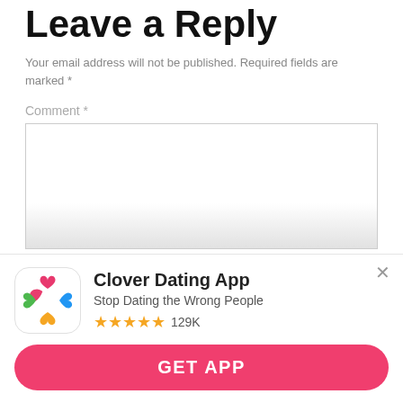Leave a Reply
Your email address will not be published. Required fields are marked *
Comment *
[Figure (screenshot): Empty comment text area input box with a fade effect at the bottom]
[Figure (infographic): Clover Dating App advertisement overlay showing app icon with four colored hearts (pink, green, blue, orange), app name 'Clover Dating App', tagline 'Stop Dating the Wrong People', 4.5 star rating with 129K reviews, and a pink 'GET APP' button]